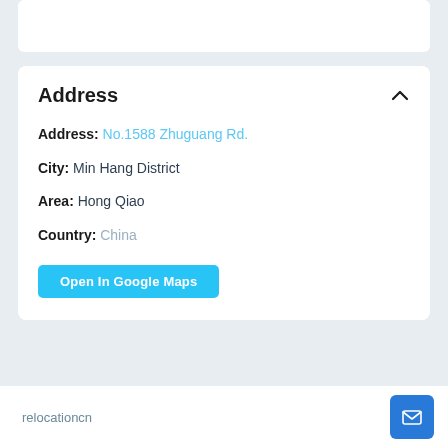Address
Address: No.1588 Zhuguang Rd.
City: Min Hang District
Area: Hong Qiao
Country: China
Open In Google Maps
relocationcn